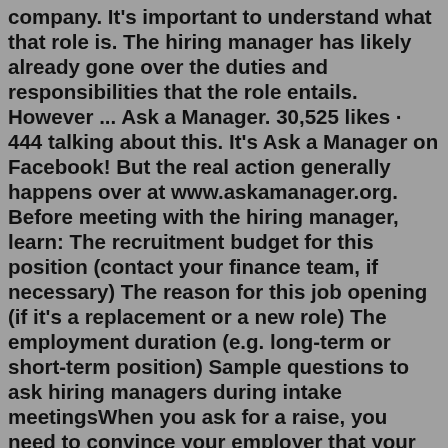company. It's important to understand what that role is. The hiring manager has likely already gone over the duties and responsibilities that the role entails. However ... Ask a Manager. 30,525 likes · 444 talking about this. It's Ask a Manager on Facebook! But the real action generally happens over at www.askamanager.org. Before meeting with the hiring manager, learn: The recruitment budget for this position (contact your finance team, if necessary) The reason for this job opening (if it's a replacement or a new role) The employment duration (e.g. long-term or short-term position) Sample questions to ask hiring managers during intake meetingsWhen you ask for a raise, you need to convince your employer that your contribution to the work of the company is worth above and beyond the usual annual pay raise of, on average, 2-4%. In addition to the planning and preparation, the timing of your asking, your employer's current pay practices, the eligibility of other employees for ...When an engineering manager asks you "do you have any questions?" Take this